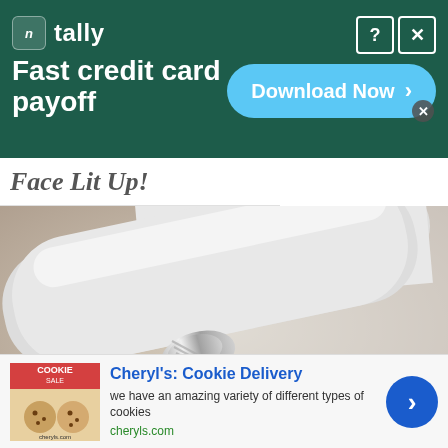[Figure (screenshot): Advertisement banner for Tally app: dark green background, Tally logo with icon, tagline 'Fast credit card payoff', blue 'Download Now' button with arrow, close and help buttons]
Face Lit Up!
[Figure (photo): Close-up photo of a white cosmetic tube dispensing cream product onto a finger. The tube has a metallic silver cap/nozzle. Warm blurred background.]
[Figure (screenshot): Advertisement for Cheryl's Cookie Delivery: thumbnail image of cookies on left, blue bold title 'Cheryl's: Cookie Delivery', description text 'we have an amazing variety of different types of cookies', green URL 'cheryls.com', blue circular arrow button on right, close X button and info icon at top right]